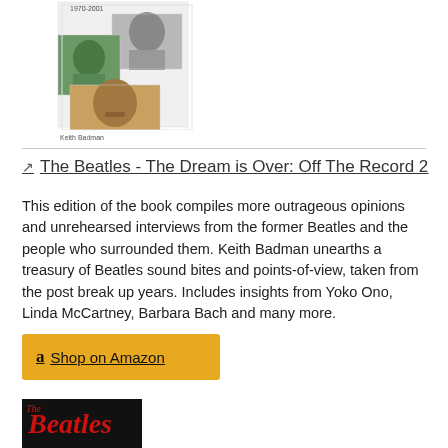[Figure (illustration): Book cover collage showing multiple black and white and color portrait photos of Beatles members in a mosaic layout, with text '1970-2001' at top]
Keith Badman
The Beatles - The Dream is Over: Off The Record 2
This edition of the book compiles more outrageous opinions and unrehearsed interviews from the former Beatles and the people who surrounded them. Keith Badman unearths a treasury of Beatles sound bites and points-of-view, taken from the post break up years. Includes insights from Yoko Ono, Linda McCartney, Barbara Bach and many more.
Shop on Amazon
[Figure (illustration): Bottom portion of a Beatles book cover with red 'Beatles' text on black background]